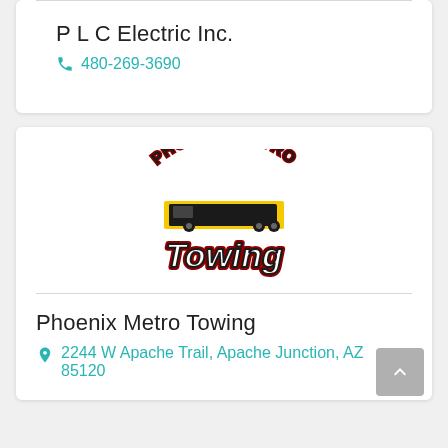P L C Electric Inc.
480-269-3690
[Figure (logo): Phoenix Metro Towing logo with text arched at top and bold stylized 'Towing' text below, with yellow and black truck silhouette]
Phoenix Metro Towing
2244 W Apache Trail, Apache Junction, AZ 85120